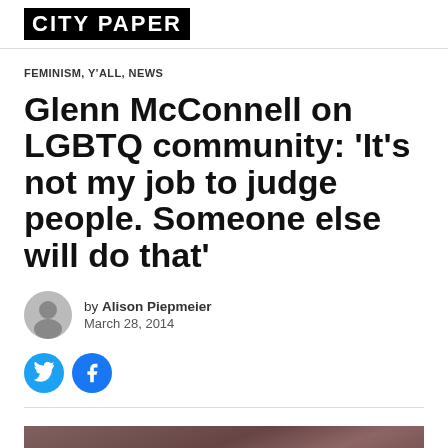CITY PAPER
FEMINISM, Y'ALL, NEWS
Glenn McConnell on LGBTQ community: ‘It’s not my job to judge people. Someone else will do that’
by Alison Piepmeier
March 28, 2014
[Figure (photo): Photo accompanying article about Glenn McConnell and LGBTQ community]